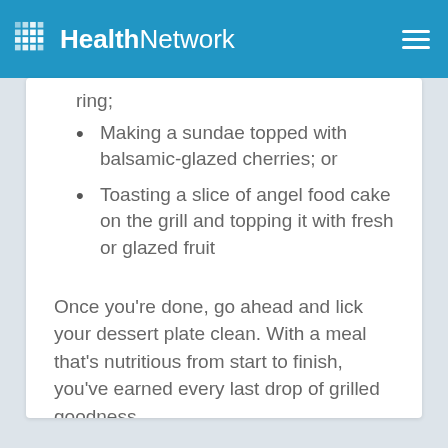HealthNetwork
ring;
Making a sundae topped with balsamic-glazed cherries; or
Toasting a slice of angel food cake on the grill and topping it with fresh or glazed fruit
Once you’re done, go ahead and lick your dessert plate clean. With a meal that’s nutritious from start to finish, you’ve earned every last drop of grilled goodness.